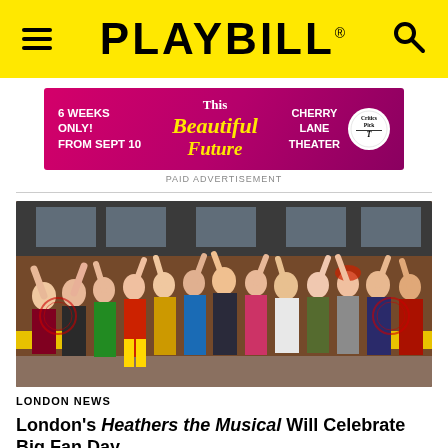PLAYBILL
[Figure (screenshot): Pink/magenta advertisement banner for 'This Beautiful Future' at Cherry Lane Theater. Text: '6 WEEKS ONLY! FROM SEPT 10', 'This Beautiful Future', 'CHERRY LANE THEATER', with New York Times Critics Pick circular logo.]
PAID ADVERTISEMENT
[Figure (photo): Cast of Heathers the Musical on stage, colorfully costumed with fists raised in the air. Brick wall and lockers in background.]
LONDON NEWS
London's Heathers the Musical Will Celebrate Big Fan Day